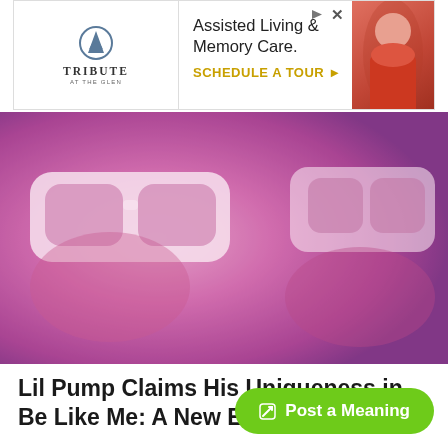[Figure (other): Advertisement banner for Tribute at the Glen assisted living and memory care featuring logo and a person in red on the right side.]
[Figure (photo): Hero image of a person wearing large pink/white sunglasses with a pink/purple color overlay tint.]
Lil Pump Claims His Uniqueness in Be Like Me: A New Ego Rap Anthem
Alexandru Moruz
1 year ago
Post a Meaning